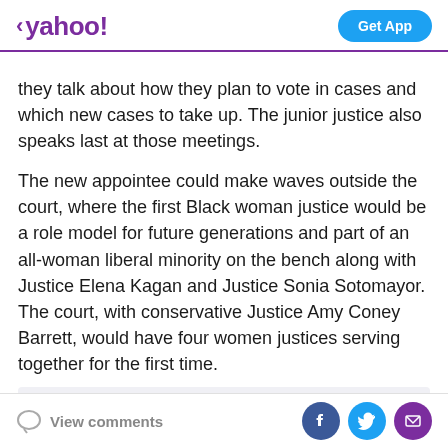< yahoo! | Get App
they talk about how they plan to vote in cases and which new cases to take up. The junior justice also speaks last at those meetings.
The new appointee could make waves outside the court, where the first Black woman justice would be a role model for future generations and part of an all-woman liberal minority on the bench along with Justice Elena Kagan and Justice Sonia Sotomayor. The court, with conservative Justice Amy Coney Barrett, would have four women justices serving together for the first time.
[Figure (other): Grey placeholder advertisement or content box]
View comments | Facebook share | Twitter share | Email share